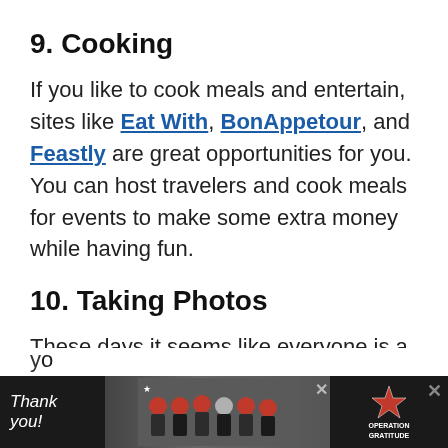9. Cooking
If you like to cook meals and entertain, sites like Eat With, BonAppetour, and Feastly are great opportunities for you. You can host travelers and cook meals for events to make some extra money while having fun.
10. Taking Photos
These days it seems like everyone is a photographer with their smartphone. Apps like Foap make it easy for you to upload your photos and make a
[Figure (infographic): Advertisement banner at the bottom of the page. Shows a 'Thank you!' message with American flag imagery and a group photo of firefighters, alongside an 'Operation Gratitude' logo.]